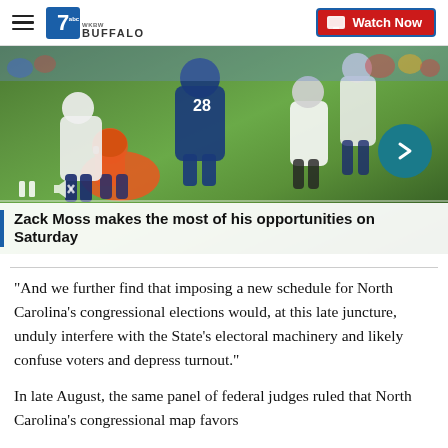7 WKBW BUFFALO | Watch Now
[Figure (photo): Football game action photo showing NFL players on a green field, with players in orange and blue/white uniforms. Video player controls visible including pause and mute icons. A teal/dark-cyan arrow button on the right side.]
Zack Moss makes the most of his opportunities on Saturday
"And we further find that imposing a new schedule for North Carolina's congressional elections would, at this late juncture, unduly interfere with the State's electoral machinery and likely confuse voters and depress turnout."
In late August, the same panel of federal judges ruled that North Carolina's congressional map favors